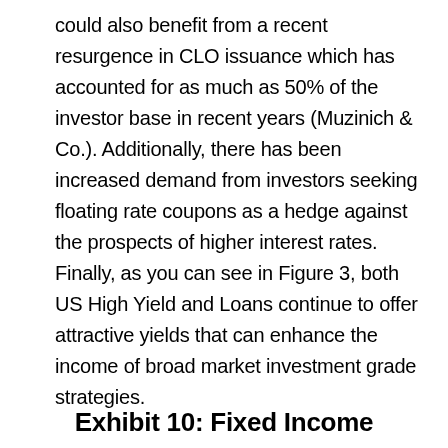could also benefit from a recent resurgence in CLO issuance which has accounted for as much as 50% of the investor base in recent years (Muzinich & Co.). Additionally, there has been increased demand from investors seeking floating rate coupons as a hedge against the prospects of higher interest rates. Finally, as you can see in Figure 3, both US High Yield and Loans continue to offer attractive yields that can enhance the income of broad market investment grade strategies.
Exhibit 10: Fixed Income